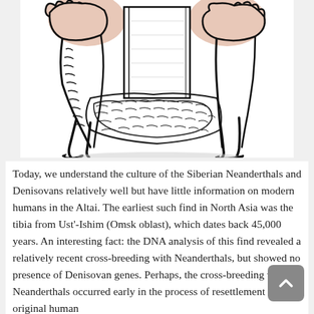[Figure (illustration): Black and white ink illustration of a Neanderthal or early human figure in a crouching or walking pose, drawn in a sketchy style with thick lines. The figure appears stocky and primitive.]
Today, we understand the culture of the Siberian Neanderthals and Denisovans relatively well but have little information on modern humans in the Altai. The earliest such find in North Asia was the tibia from Ust'-Ishim (Omsk oblast), which dates back 45,000 years. An interesting fact: the DNA analysis of this find revealed a relatively recent cross-breeding with Neanderthals, but showed no presence of Denisovan genes. Perhaps, the cross-breeding with Neanderthals occurred early in the process of resettlement of the original human population, most likely in the Middle East. However, this...